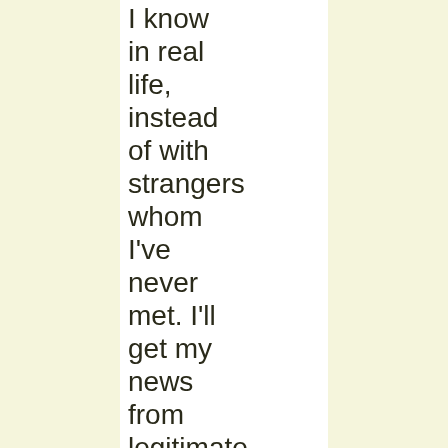I know in real life, instead of with strangers whom I've never met. I'll get my news from legitimate journalists instead of from an online mob for whom Saturday-morning indignation is just